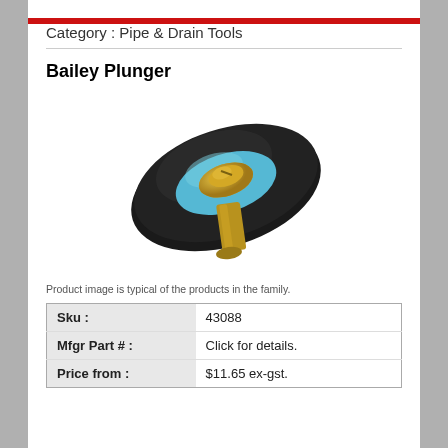Category : Pipe & Drain Tools
Bailey Plunger
[Figure (photo): Bailey Plunger product image — a disc-shaped rubber plunger with a blue center disc and a brass threaded bolt fitting in the center, with a brass cylindrical extension below.]
Product image is typical of the products in the family.
| Sku : | 43088 |
| Mfgr Part # : | Click for details. |
| Price from : | $11.65 ex-gst. |